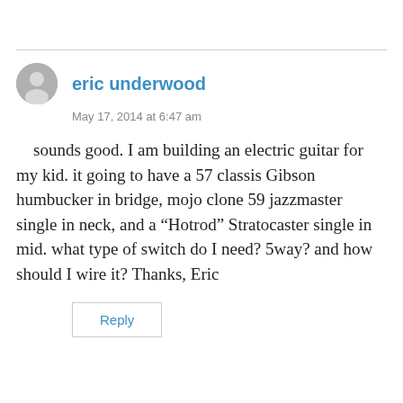eric underwood
May 17, 2014 at 6:47 am
sounds good. I am building an electric guitar for my kid. it going to have a 57 classis Gibson humbucker in bridge, mojo clone 59 jazzmaster single in neck, and a “Hotrod” Stratocaster single in mid. what type of switch do I need? 5way? and how should I wire it? Thanks, Eric
Reply